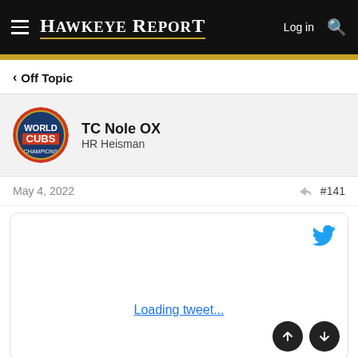Hawkeye Report
Off Topic
TC Nole OX
HR Heisman
May 4, 2022
#141
[Figure (screenshot): Embedded tweet placeholder showing Twitter bird icon and 'Loading tweet...' link text in a rounded border box]
Loading tweet...